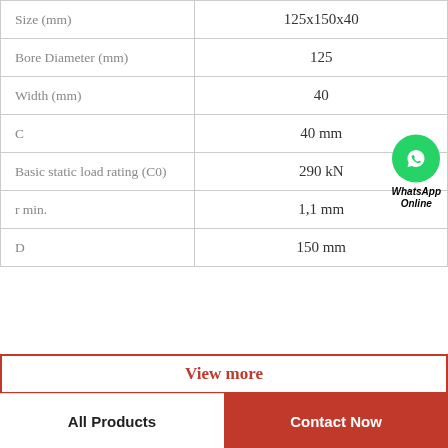| Property | Value |
| --- | --- |
| Size (mm) | 125x150x40 |
| Bore Diameter (mm) | 125 |
| Width (mm) | 40 |
| C | 40 mm |
| Basic static load rating (C0) | 290 kN |
| r min. | 1,1 mm |
| D | 150 mm |
View more
All Products
Contact Now